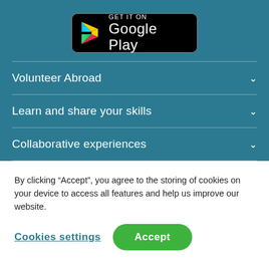[Figure (logo): Google Play badge: black rounded rectangle with Google Play triangle logo and text 'GET IT ON Google Play' in white]
Volunteer Abroad
Learn and share your skills
Collaborative experiences
By clicking “Accept”, you agree to the storing of cookies on your device to access all features and help us improve our website.
Cookies settings
Accept